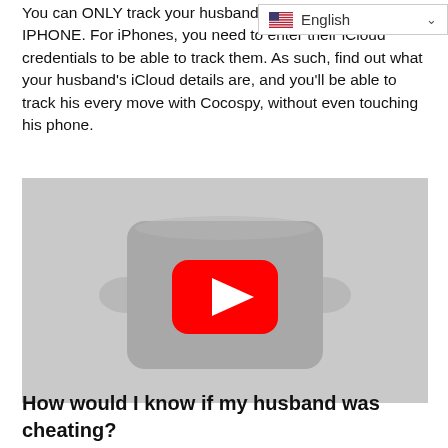You can ONLY track your husband using it if he has an IPHONE. For iPhones, you need to enter their iCloud credentials to be able to track them. As such, find out what your husband's iCloud details are, and you'll be able to track his every move with Cocospy, without even touching his phone.
[Figure (other): Embedded YouTube video player thumbnail showing a play button on a grey background]
How would I know if my husband was cheating?